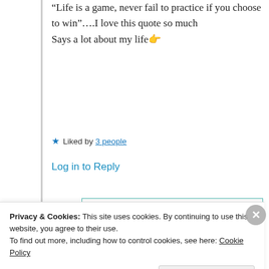“Life is a game, never fail to practice if you choose to win”….I love this quote so much
Says a lot about my life🤙
★ Liked by 3 people
Log in to Reply
Suma Reddy
25th Jun 2021 at 8:53 pm
Privacy & Cookies: This site uses cookies. By continuing to use this website, you agree to their use.
To find out more, including how to control cookies, see here: Cookie Policy
Close and accept